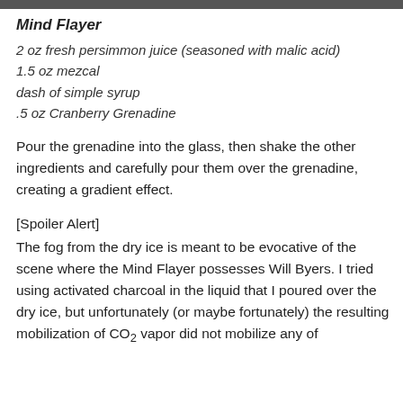Mind Flayer
2 oz fresh persimmon juice (seasoned with malic acid)
1.5 oz mezcal
dash of simple syrup
.5 oz Cranberry Grenadine
Pour the grenadine into the glass, then shake the other ingredients and carefully pour them over the grenadine, creating a gradient effect.
[Spoiler Alert]
The fog from the dry ice is meant to be evocative of the scene where the Mind Flayer possesses Will Byers. I tried using activated charcoal in the liquid that I poured over the dry ice, but unfortunately (or maybe fortunately) the resulting mobilization of CO2 vapor did not mobilize any of